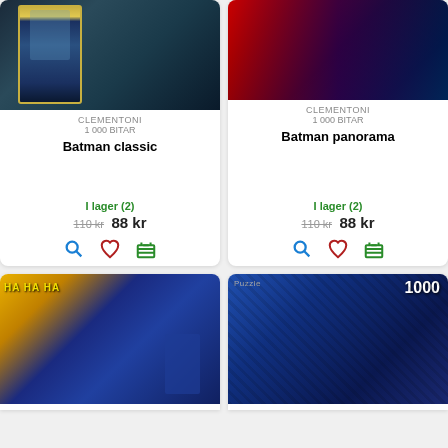[Figure (photo): Batman classic puzzle box cover showing Batman comic art in blue tones with yellow border]
CLEMENTONI
1 000 BITAR
Batman classic
I lager (2)
110 kr 88 kr
[Figure (photo): Batman panorama puzzle box cover with red and dark colorful DC comics art]
CLEMENTONI
1 000 BITAR
Batman panorama
I lager (2)
110 kr 88 kr
[Figure (photo): Batman and Joker colorful comic puzzle image with Ha Ha text and yellow/green colors]
[Figure (photo): Batman 1000 piece puzzle box with blue tones and 1000 label, Puzzle branding visible]